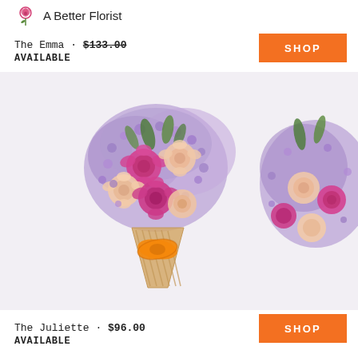A Better Florist
The Emma · $133.00
AVAILABLE
[Figure (photo): Two bouquets of pink roses and purple statice flowers wrapped in craft paper with an orange ribbon bow, displayed on a white background.]
The Juliette · $96.00
AVAILABLE